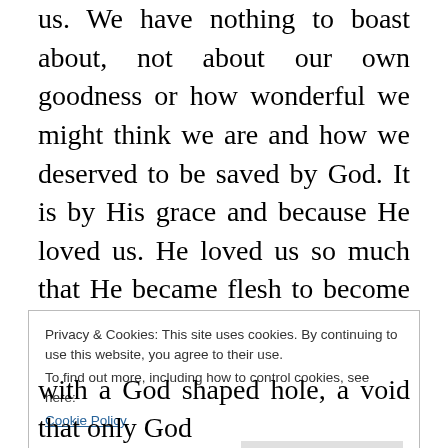us. We have nothing to boast about, not about our own goodness or how wonderful we might think we are and how we deserved to be saved by God. It is by His grace and because He loved us. He loved us so much that He became flesh to become one of us and to die and shed His blood on the cross. That is unconditional love and what could I compare that with? Before I say I did this and I did that, I look at the cross and say;  Jesus did that. The thief on the cross?  No works and
Privacy & Cookies: This site uses cookies. By continuing to use this website, you agree to their use.
To find out more, including how to control cookies, see here:
Cookie Policy
Close and accept
with a God shaped hole, a void that only God